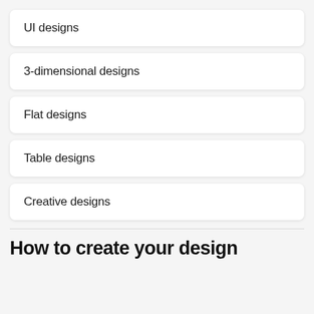UI designs
3-dimensional designs
Flat designs
Table designs
Creative designs
How to create your design